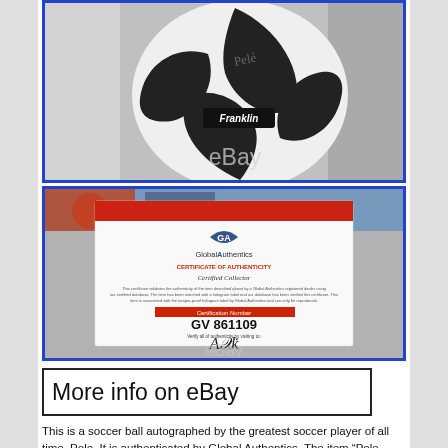[Figure (photo): A Franklin soccer ball with a signature on it, placed on a white surface. eBay watermark visible at bottom.]
[Figure (photo): Global Authentics Certificate of Authenticity card showing certification number GV 861109 with a signature, laid on a surface with sports memorabilia in the background. eBay watermark visible.]
[Figure (other): More info on eBay button - rectangular button with black border and text 'More info on eBay']
This is a soccer ball autographed by the greatest soccer player of all time, Pele. It is authenticated by Global Authentics. The item “Pele autographed soccer ball signed and authenticated” is in sale since Tuesday, January 24, 2017. This item is in the category “Sports Mem, Cards & Fan